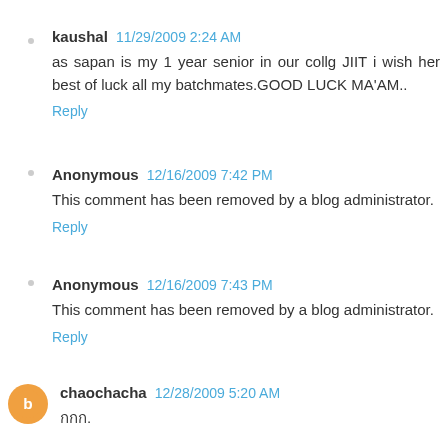kaushal  11/29/2009 2:24 AM
as sapan is my 1 year senior in our collg JIIT i wish her best of luck all my batchmates.GOOD LUCK MA'AM..
Reply
Anonymous  12/16/2009 7:42 PM
This comment has been removed by a blog administrator.
Reply
Anonymous  12/16/2009 7:43 PM
This comment has been removed by a blog administrator.
Reply
chaochacha  12/28/2009 5:20 AM
กกก.